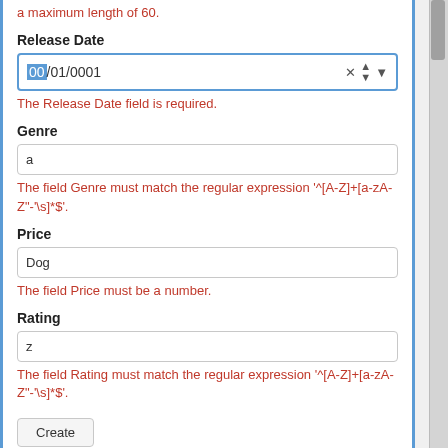a maximum length of 60.
Release Date
[Figure (screenshot): Date input field showing '00/01/0001' with a blue border, highlighted '00' portion, and clear/spin/dropdown controls on the right]
The Release Date field is required.
Genre
[Figure (screenshot): Text input field containing the value 'a']
The field Genre must match the regular expression '^[A-Z]+[a-zA-Z"-'\s]*$'.
Price
[Figure (screenshot): Text input field containing the value 'Dog']
The field Price must be a number.
Rating
[Figure (screenshot): Text input field containing the value 'z']
The field Rating must match the regular expression '^[A-Z]+[a-zA-Z"-'\s]*$'.
[Figure (screenshot): Create button]